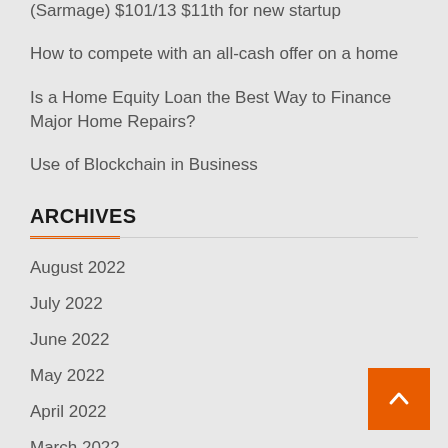(Sarmage) $101/13 $11th for new startup
How to compete with an all-cash offer on a home
Is a Home Equity Loan the Best Way to Finance Major Home Repairs?
Use of Blockchain in Business
ARCHIVES
August 2022
July 2022
June 2022
May 2022
April 2022
March 2022